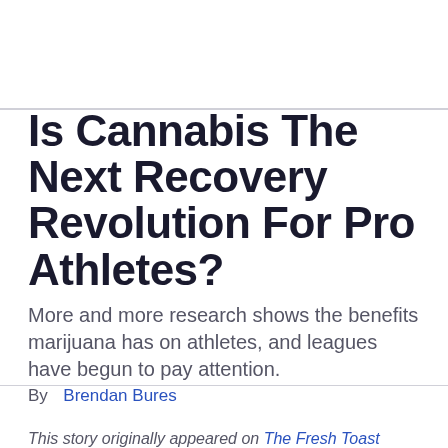Is Cannabis The Next Recovery Revolution For Pro Athletes?
More and more research shows the benefits marijuana has on athletes, and leagues have begun to pay attention.
By  Brendan Bures
This story originally appeared on The Fresh Toast
According to a joining research with